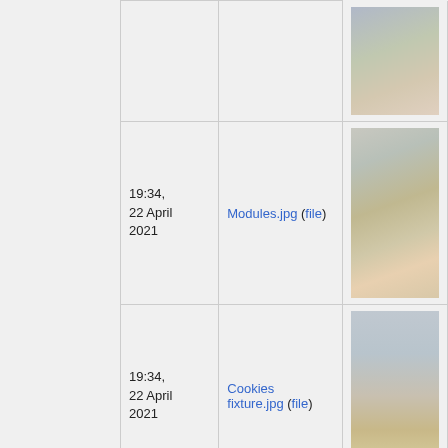|  | Date | File | Image |
| --- | --- | --- | --- |
|  | 19:34, 22 April 2021 | Modules.jpg (file) | [photo of modules] |
|  | 19:34, 22 April 2021 | Cookies fixture.jpg (file) | [photo of cookies fixture] |
|  | 19:34, 22 April 2021 | Rtv 615.jpg (file) | [photo of RTV 615] |